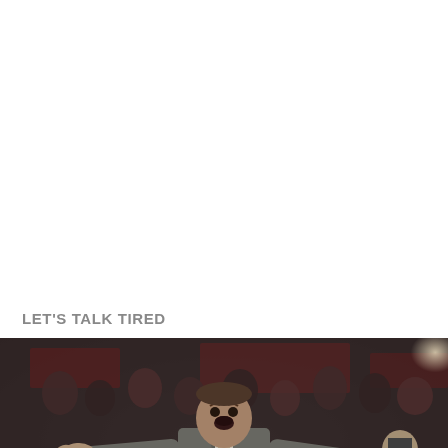LET'S TALK TIRED
[Figure (photo): A basketball coach in a grey suit with arms spread wide open, appearing to protest or express frustration on the sideline of a basketball game. Crowd visible in the background, blurred arena lighting.]